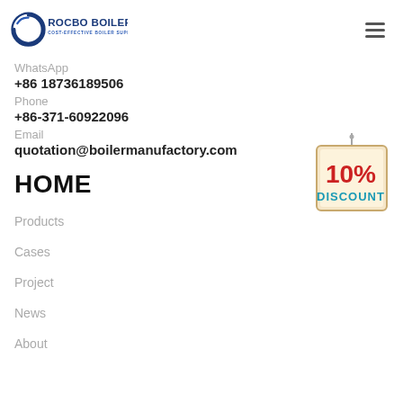[Figure (logo): ROCBO BOILER logo with tagline COST-EFFECTIVE BOILER SUPPLIER]
WhatsApp
+86 18736189506
Phone
+86-371-60922096
Email
quotation@boilermanufactory.com
[Figure (illustration): 10% DISCOUNT badge/sign hanging from a string]
HOME
Products
Cases
Project
News
About